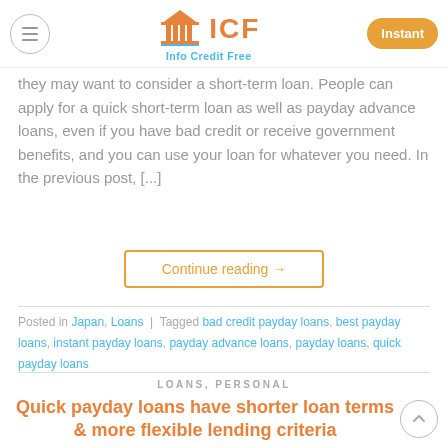ICF Info Credit Free | Instant
they may want to consider a short-term loan. People can apply for a quick short-term loan as well as payday advance loans, even if you have bad credit or receive government benefits, and you can use your loan for whatever you need. In the previous post, [...]
Continue reading →
Posted in Japan, Loans | Tagged bad credit payday loans, best payday loans, instant payday loans, payday advance loans, payday loans, quick payday loans
LOANS, PERSONAL
Quick payday loans have shorter loan terms & more flexible lending criteria